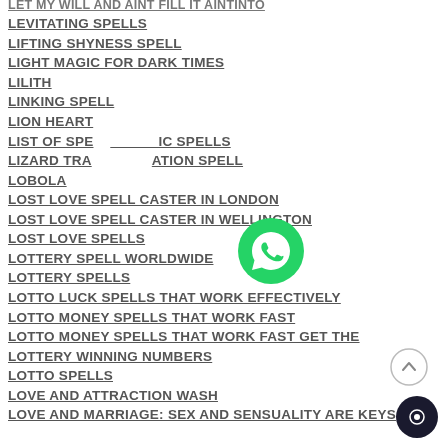LET MY WILL AND AINT FILL IT AINTINTO
LEVITATING SPELLS
LIFTING SHYNESS SPELL
LIGHT MAGIC FOR DARK TIMES
LILITH
LINKING SPELL
LION HEART
LIST OF SPELLS – MAGIC SPELLS
LIZARD TRANSFORMATION SPELL
LOBOLA
LOST LOVE SPELL CASTER IN LONDON
LOST LOVE SPELL CASTER IN WELLINGTON
LOST LOVE SPELLS
LOTTERY SPELL WORLDWIDE
LOTTERY SPELLS
LOTTO LUCK SPELLS THAT WORK EFFECTIVELY
LOTTO MONEY SPELLS THAT WORK FAST
LOTTO MONEY SPELLS THAT WORK FAST GET THE LOTTERY WINNING NUMBERS
LOTTO SPELLS
LOVE AND ATTRACTION WASH
LOVE AND MARRIAGE: SEX AND SENSUALITY ARE KEYS